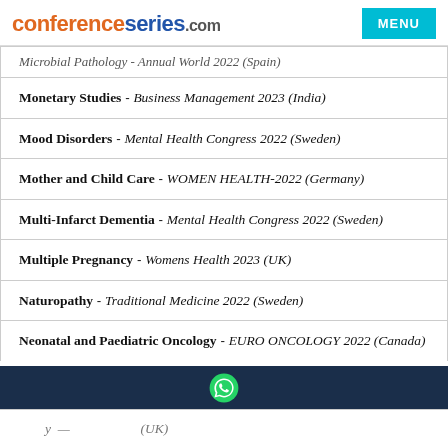conferenceseries.com
Microbial Pathology - Annual World 2022 (Spain)
Monetary Studies - Business Management 2023 (India)
Mood Disorders - Mental Health Congress 2022 (Sweden)
Mother and Child Care - WOMEN HEALTH-2022 (Germany)
Multi-Infarct Dementia - Mental Health Congress 2022 (Sweden)
Multiple Pregnancy - Womens Health 2023 (UK)
Naturopathy - Traditional Medicine 2022 (Sweden)
Neonatal and Paediatric Oncology - EURO ONCOLOGY 2022 (Canada)
(WhatsApp button)